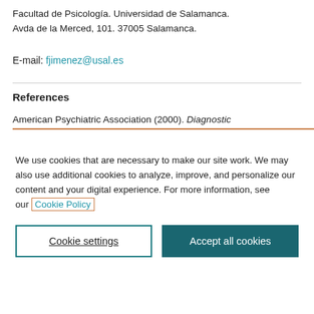Facultad de Psicología. Universidad de Salamanca. Avda de la Merced, 101. 37005 Salamanca.
E-mail: fjimenez@usal.es
References
American Psychiatric Association (2000). Diagnostic
We use cookies that are necessary to make our site work. We may also use additional cookies to analyze, improve, and personalize our content and your digital experience. For more information, see our Cookie Policy
Cookie settings
Accept all cookies